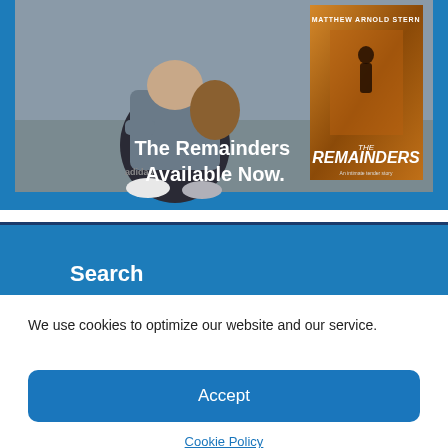[Figure (illustration): Blue banner with photo advertisement for 'The Remainders' book by Matthew Arnold Stern. Shows a person sitting on ground in foreground and book cover on the right. White bold text reads 'The Remainders Available Now.']
Search
We use cookies to optimize our website and our service.
Accept
Cookie Policy